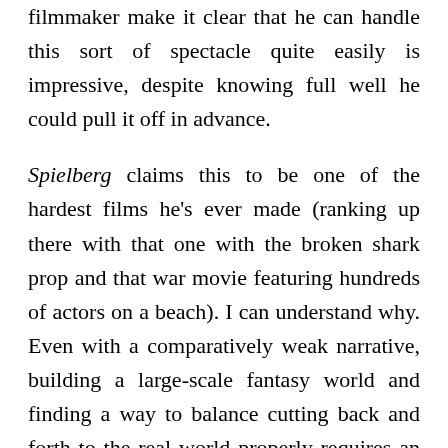filmmaker make it clear that he can handle this sort of spectacle quite easily is impressive, despite knowing full well he could pull it off in advance.
Spielberg claims this to be one of the hardest films he's ever made (ranking up there with that one with the broken shark prop and that war movie featuring hundreds of actors on a beach). I can understand why. Even with a comparatively weak narrative, building a large-scale fantasy world and finding a way to balance cutting back and forth to the real world properly requires an understanding of how to maximize excitement, while telling a story. With a young cast, there's little to question as far as Spielberg's ways of bringing out the childlike wonder in his characters, but